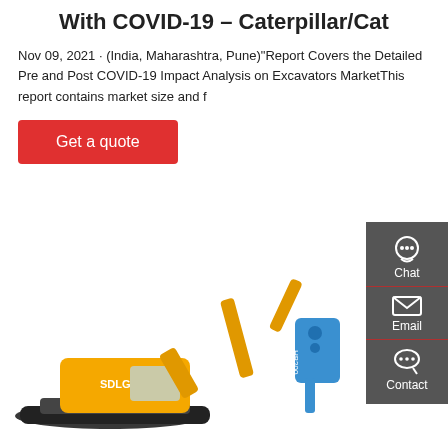With COVID-19 – Caterpillar/Cat
Nov 09, 2021 · (India, Maharashtra, Pune)"Report Covers the Detailed Pre and Post COVID-19 Impact Analysis on Excavators MarketThis report contains market size and f
[Figure (other): Red 'Get a quote' button]
[Figure (photo): Yellow SDLG excavator with blue HB200 hydraulic breaker attachment on white background]
[Figure (infographic): Dark gray sidebar with Chat, Email, and Contact icons and labels]